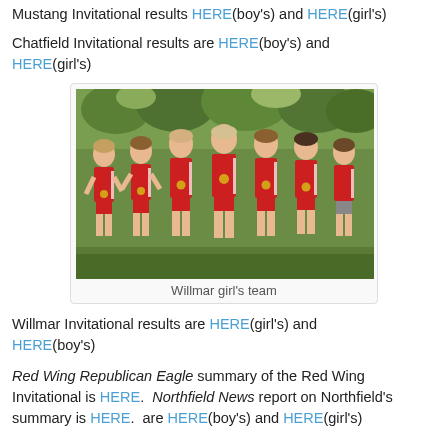Mustang Invitational results HERE(boy's) and HERE(girl's)
Chatfield Invitational results are HERE(boy's) and HERE(girl's)
[Figure (photo): Seven girls in red cross country uniforms with medals, standing together outdoors with trees in background]
Willmar girl's team
Willmar Invitational results are HERE(girl's) and HERE(boy's)
Red Wing Republican Eagle summary of the Red Wing Invitational is HERE. Northfield News report on Northfield's summary is HERE. are HERE(boy's) and HERE(girl's)